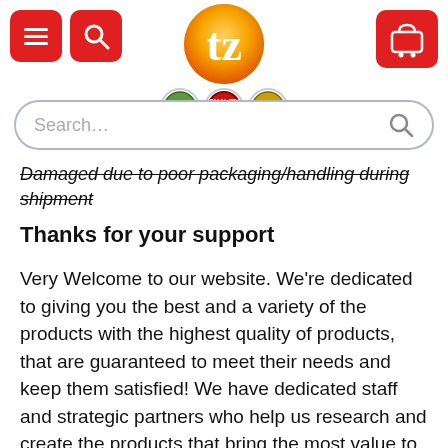Tezooronics website header with menu, search, logo, and cart
Damaged due to poor packaging/handling during shipment
Thanks for your support
Very Welcome to our website. We're dedicated to giving you the best and a variety of the products with the highest quality of products, that are guaranteed to meet their needs and keep them satisfied! We have dedicated staff and strategic partners who help us research and create the products that bring the most value to our customers. We always keep an eye on the latest trends for such kinds of products and continuously improve our products and out our customer's wishes first.Our mission is to